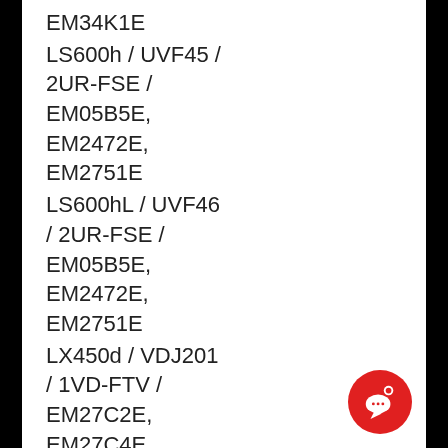EM34K1E
LS600h / UVF45 / 2UR-FSE / EM05B5E, EM2472E, EM2751E
LS600hL / UVF46 / 2UR-FSE / EM05B5E, EM2472E, EM2751E
LX450d / VDJ201 / 1VD-FTV / EM27C2E, EM27C4E
LX460 / URJ202 / 1UR-FE /